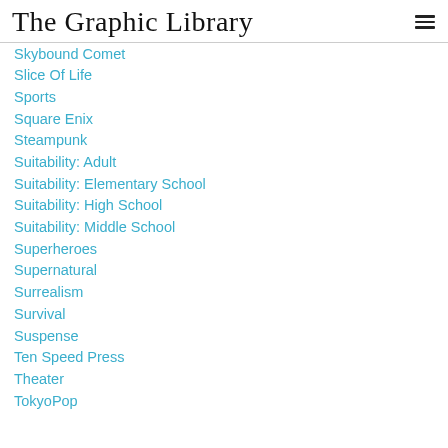The Graphic Library
Skybound Comet
Slice Of Life
Sports
Square Enix
Steampunk
Suitability: Adult
Suitability: Elementary School
Suitability: High School
Suitability: Middle School
Superheroes
Supernatural
Surrealism
Survival
Suspense
Ten Speed Press
Theater
TokyoPop